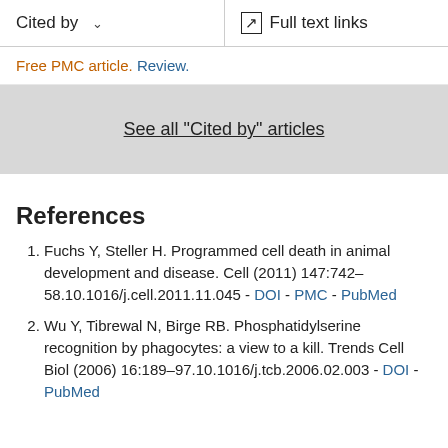Cited by | Full text links
Free PMC article. Review.
See all "Cited by" articles
References
Fuchs Y, Steller H. Programmed cell death in animal development and disease. Cell (2011) 147:742–58.10.1016/j.cell.2011.11.045 - DOI - PMC - PubMed
Wu Y, Tibrewal N, Birge RB. Phosphatidylserine recognition by phagocytes: a view to a kill. Trends Cell Biol (2006) 16:189–97.10.1016/j.tcb.2006.02.003 - DOI - PubMed